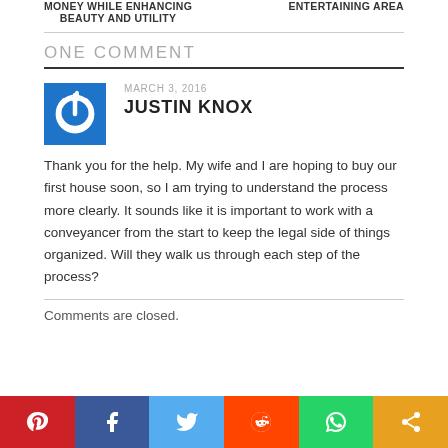MONEY WHILE ENHANCING BEAUTY AND UTILITY | ENTERTAINING AREA
ONE COMMENT
MARCH 3, 2016
JUSTIN KNOX
Thank you for the help. My wife and I are hoping to buy our first house soon, so I am trying to understand the process more clearly. It sounds like it is important to work with a conveyancer from the start to keep the legal side of things organized. Will they walk us through each step of the process?
Comments are closed.